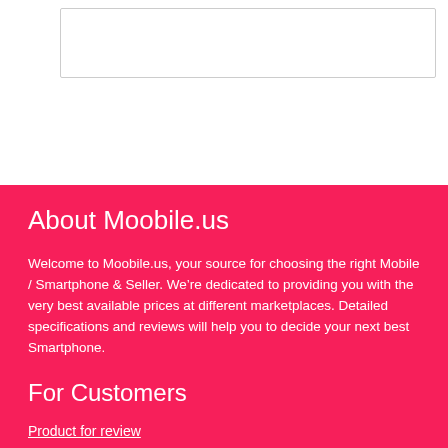[Figure (other): White content area with an inner bordered box at the top of the page]
About Moobile.us
Welcome to Moobile.us, your source for choosing the right Mobile / Smartphone & Seller. We’re dedicated to providing you with the very best available prices at different marketplaces. Detailed specifications and reviews will help you to decide your next best Smartphone.
For Customers
Product for review